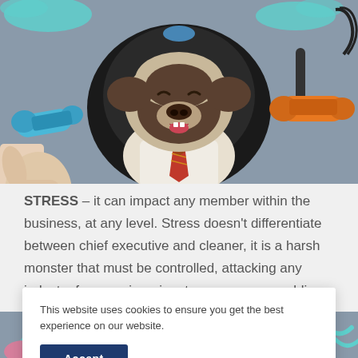[Figure (photo): A pug dog dressed in a white shirt and red plaid tie, sitting in a black leather office chair. A human hand holds a blue telephone handset on the left, and an orange telephone handset hangs on the right. Background is grey with teal splashes.]
STRESS – it can impact any member within the business, at any level. Stress doesn't differentiate between chief executive and cleaner, it is a harsh monster that must be controlled, attacking any industry from engineering, to ecommerce, public, private or non-profit. But what is
This website uses cookies to ensure you get the best experience on our website.
Accept
[Figure (photo): Bottom strip showing partial view of background image with teal/pink decorative elements.]